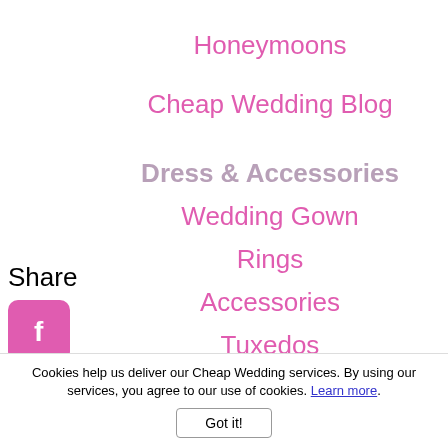Honeymoons
Cheap Wedding Blog
Share
[Figure (illustration): Social media share icons: Facebook, Twitter, Pinterest, Tumblr, Reddit, WhatsApp — all pink rounded squares]
Dress & Accessories
Wedding Gown
Rings
Accessories
Tuxedos
Bridesmaids
Cookies help us deliver our Cheap Wedding services. By using our services, you agree to our use of cookies. Learn more.
Got it!